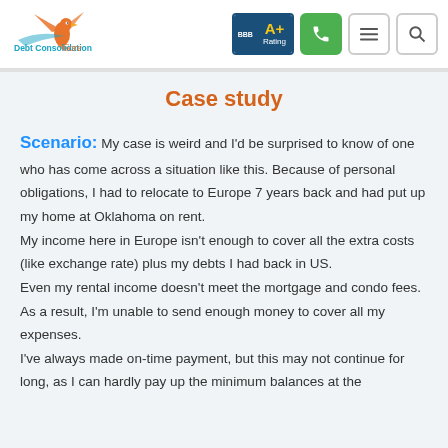[Figure (logo): Debt Consolidation Care logo with bird illustration and orange/teal text]
[Figure (other): BBB A+ Rating badge, phone button, hamburger menu button, search button]
Case study
Scenario: My case is weird and I'd be surprised to know of one who has come across a situation like this. Because of personal obligations, I had to relocate to Europe 7 years back and had put up my home at Oklahoma on rent. My income here in Europe isn't enough to cover all the extra costs (like exchange rate) plus my debts I had back in US. Even my rental income doesn't meet the mortgage and condo fees. As a result, I'm unable to send enough money to cover all my expenses. I've always made on-time payment, but this may not continue for long, as I can hardly pay up the minimum balances at the